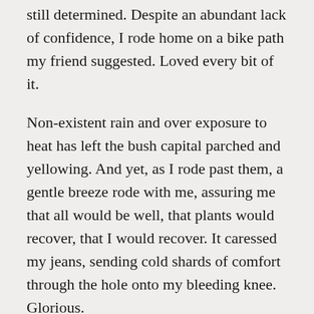still determined. Despite an abundant lack of confidence, I rode home on a bike path my friend suggested. Loved every bit of it.
Non-existent rain and over exposure to heat has left the bush capital parched and yellowing. And yet, as I rode past them, a gentle breeze rode with me, assuring me that all would be well, that plants would recover, that I would recover. It caressed my jeans, sending cold shards of comfort through the hole onto my bleeding knee. Glorious.
As I unlocked my door and gingerly stepped into my home, I smiled. Happy and satisfied with myself.
I too can ride.